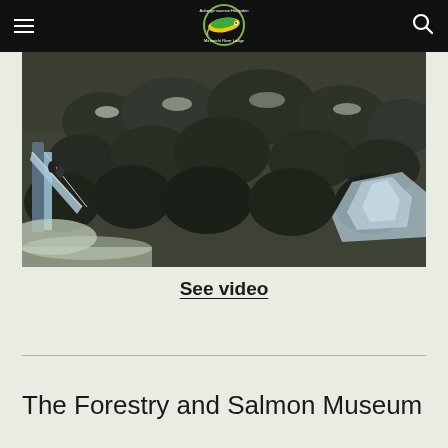Navigation bar with hamburger menu, Miramichi River Lodge logo, and search icon
[Figure (photo): Aerial winter drone photograph of a forested area with snow, showing a ski jump or water chute structure on the left and a frozen waterfall on the right, surrounded by dense coniferous trees.]
See video
The Forestry and Salmon Museum